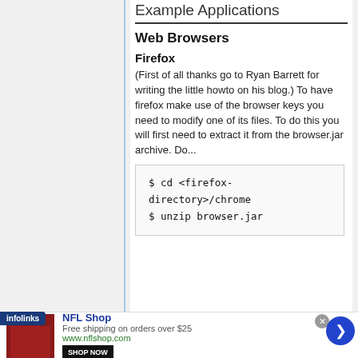Example Applications
Web Browsers
Firefox
(First of all thanks go to Ryan Barrett for writing the little howto on his blog.) To have firefox make use of the browser keys you need to modify one of its files. To do this you will first need to extract it from the browser.jar archive. Do...